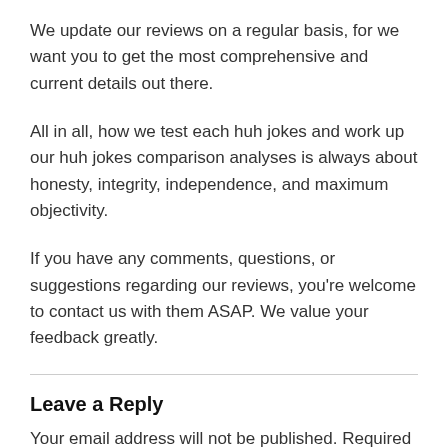We update our reviews on a regular basis, for we want you to get the most comprehensive and current details out there.
All in all, how we test each huh jokes and work up our huh jokes comparison analyses is always about honesty, integrity, independence, and maximum objectivity.
If you have any comments, questions, or suggestions regarding our reviews, you’re welcome to contact us with them ASAP. We value your feedback greatly.
Leave a Reply
Your email address will not be published. Required fields